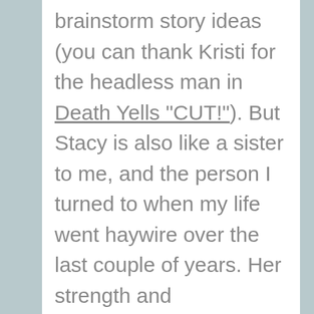brainstorm story ideas (you can thank Kristi for the headless man in Death Yells "CUT!"). But Stacy is also like a sister to me, and the person I turned to when my life went haywire over the last couple of years. Her strength and encouragement got me through some dark times. Stacy, I am so thankfully Jamie introduced us. You are like a sister to me, someone I can tell everything and anything to